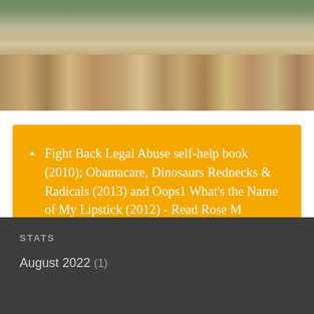[Figure (photo): Aerial or elevated view of a dense urban cityscape with buildings, rooftops, and trees in a Mediterranean city.]
Fight Back Legal Abuse self-help book (2010); Obamacare, Dinosaurs Rednecks & Radicals (2013) and Oops1 What's the Name of My Lipstick (2012) - Read Rose M Colombo's books on Kindle when you're in Rome and do as the Romans do!
STATS
August 2022 (1)